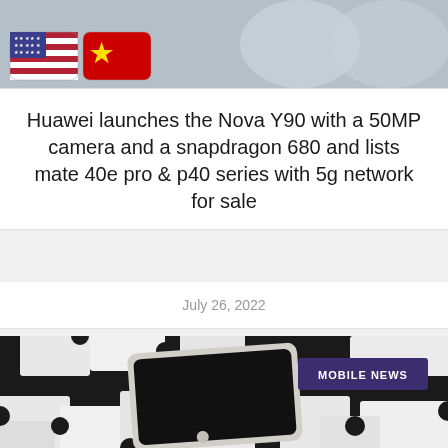[Figure (photo): Partial top image showing flags (US flag and Chinese flag) as 3D icons on a grey background]
Huawei launches the Nova Y90 with a 50MP camera and a snapdragon 680 and lists mate 40e pro & p40 series with 5g network for sale
July 26, 2022
[Figure (photo): A smartphone lying on black and white jigsaw puzzle pieces, with a 'MOBILE NEWS' badge in the upper right]